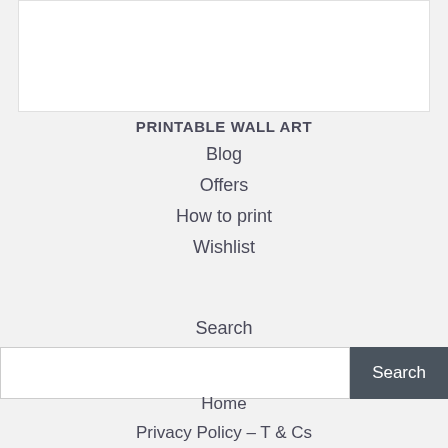[Figure (other): White rectangular box at the top of the page, appears to be a placeholder or image area]
PRINTABLE WALL ART
Blog
Offers
How to print
Wishlist
Search
Home
Privacy Policy – T & Cs